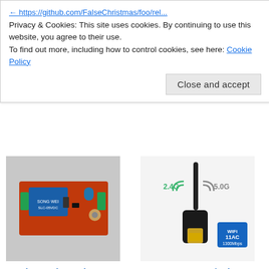https://github.com/FalseChristmas/foo/rel...
Privacy & Cookies: This site uses cookies. By continuing to use this website, you agree to their use.
To find out more, including how to control cookies, see here: Cookie Policy
Close and accept
[Figure (photo): Photo of a 5V Time Delay Relay circuit board with orange PCB, blue relay component, and green terminal blocks]
5V Time Delay Relay
$5.00
Add to cart
[Figure (photo): Photo of a 1200MBS USB WiFi adapter with black antenna, showing 2.4G and 5.0G labels and a WiFi 11AC 1300Mbps badge]
1200MBS WIFI w/ 2dB Antenna
$19.00
Add to cart